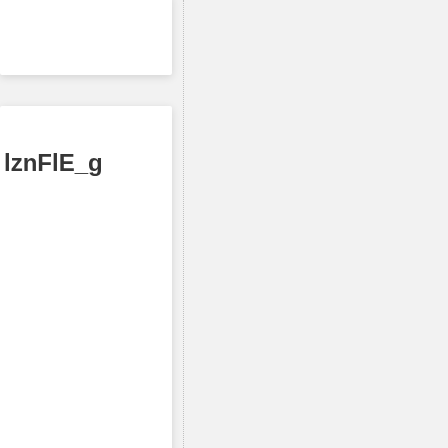[Figure (screenshot): Partial view of a UI panel showing card elements. Top card is partially visible (cropped). Second card shows label 'iznFIE_g'. Third card shows label 'Trolls'. Fourth card shows label 'Trolls' (partially visible). A vertical dotted divider line runs down the right side of the panel. Right half of page is blank white.]